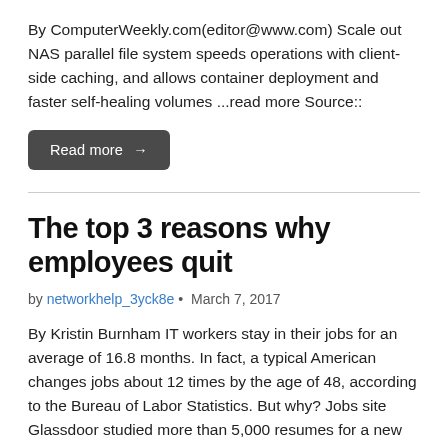By ComputerWeekly.com(editor@www.com) Scale out NAS parallel file system speeds operations with client-side caching, and allows container deployment and faster self-healing volumes ...read more Source::
Read more →
The top 3 reasons why employees quit
by networkhelp_3yck8e • March 7, 2017
By Kristin Burnham IT workers stay in their jobs for an average of 16.8 months. In fact, a typical American changes jobs about 12 times by the age of 48, according to the Bureau of Labor Statistics. But why? Jobs site Glassdoor studied more than 5,000 resumes for a new report that examines the factors…